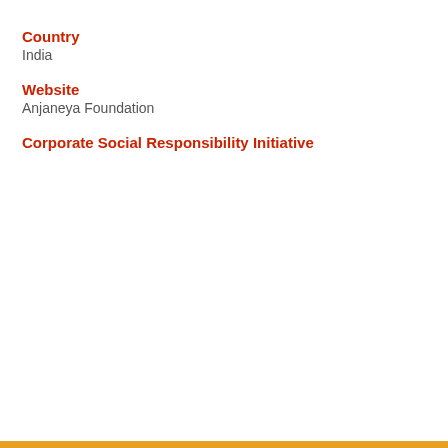Country
India
Website
Anjaneya Foundation
Corporate Social Responsibility Initiative